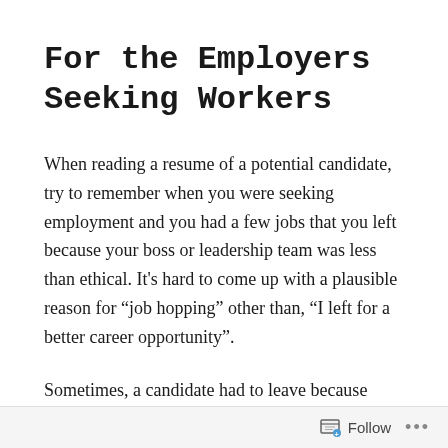For the Employers Seeking Workers
When reading a resume of a potential candidate, try to remember when you were seeking employment and you had a few jobs that you left because your boss or leadership team was less than ethical. It’s hard to come up with a plausible reason for “job hopping” other than, “I left for a better career opportunity”.
Sometimes, a candidate had to leave because
Follow ...